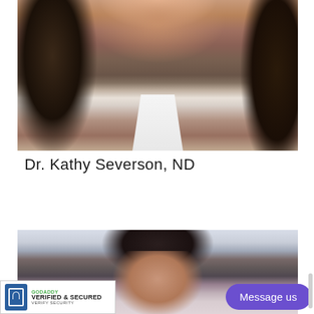[Figure (photo): Professional headshot of a young woman with long wavy brown hair, smiling, wearing a white sleeveless top. Background appears warm/bokeh.]
Dr. Kathy Severson, ND
[Figure (photo): Partial photo of a woman with dark curly hair, outdoors with light sky background. Photo is cropped showing face and hair.]
[Figure (logo): GoDaddy Verified & Secured badge with lock icon and text: GODADDY / VERIFIED & SECURED / VERIFY SECURITY]
Message us